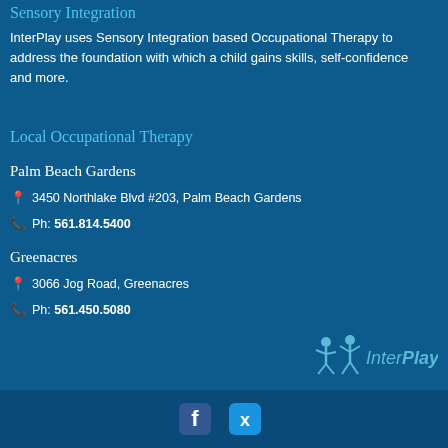Sensory Integration
InterPlay uses Sensory Integration based Occupational Therapy to address the foundation with which a child gains skills, self-confidence and more.
Local Occupational Therapy
Palm Beach Gardens
3450 Northlake Blvd #203, Palm Beach Gardens
Ph: 561.814.5400
Greenacres
3066 Jog Road, Greenacres
Ph: 561.450.5080
[Figure (logo): InterPlay logo with stick figures and company name]
[Figure (other): Facebook and Twitter social media icons in footer]